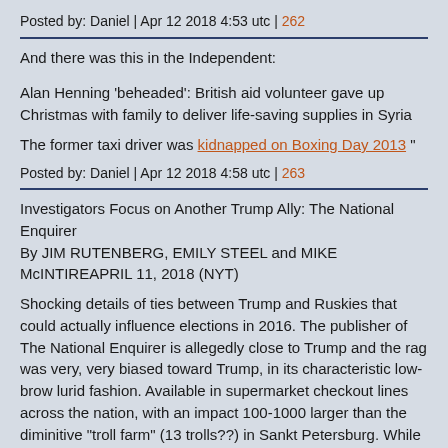Posted by: Daniel | Apr 12 2018 4:53 utc | 262
And there was this in the Independent:
Alan Henning 'beheaded': British aid volunteer gave up Christmas with family to deliver life-saving supplies in Syria
The former taxi driver was kidnapped on Boxing Day 2013 "
Posted by: Daniel | Apr 12 2018 4:58 utc | 263
Investigators Focus on Another Trump Ally: The National Enquirer
By JIM RUTENBERG, EMILY STEEL and MIKE McINTIREAPRIL 11, 2018 (NYT)
Shocking details of ties between Trump and Ruskies that could actually influence elections in 2016. The publisher of The National Enquirer is allegedly close to Trump and the rag was very, very biased toward Trump, in its characteristic low-brow lurid fashion. Available in supermarket checkout lines across the nation, with an impact 100-1000 larger than the diminitive "troll farm" (13 trolls??) in Sankt Petersburg. While the number of copies sold is mere 250-300 thousands per week (it is a weekly), the headlines and photos on the